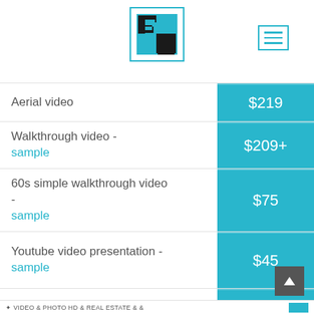[Figure (logo): Company logo: black pixel/block style letter F2 inside a cyan-bordered white square]
| Service | Price |
| --- | --- |
| Aerial video | $219 |
| Walkthrough video - sample | $209+ |
| 60s simple walkthrough video - sample | $75 |
| Youtube video presentation - sample | $45 |
| Cinematic video | $315+ |
| Aerial + Walkthrough video - sample | $335+ |